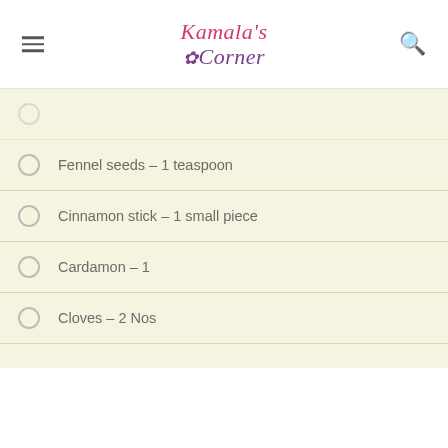Kamala's Corner
Fennel seeds – 1 teaspoon
Cinnamon stick – 1 small piece
Cardamon – 1
Cloves – 2 Nos